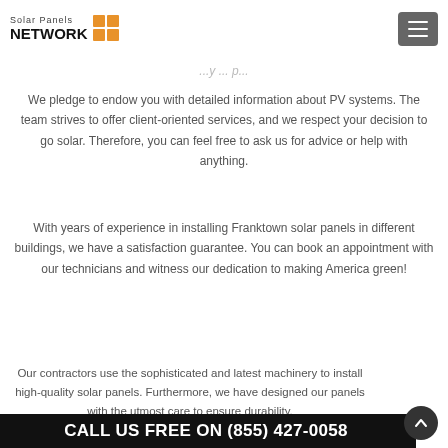Solar Panels NETWORK
...y...p...
We pledge to endow you with detailed information about PV systems. The team strives to offer client-oriented services, and we respect your decision to go solar. Therefore, you can feel free to ask us for advice or help with anything.
With years of experience in installing Franktown solar panels in different buildings, we have a satisfaction guarantee. You can book an appointment with our technicians and witness our dedication to making America green!
Our contractors use the sophisticated and latest machinery to install high-quality solar panels. Furthermore, we have designed our panels with the utmost care to ensure durability.
CALL US FREE ON (855) 427-0058